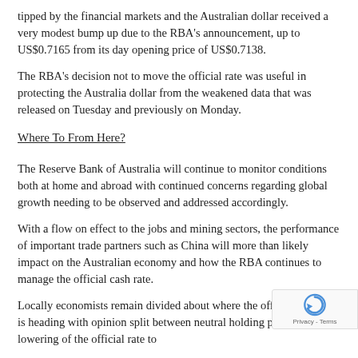tipped by the financial markets and the Australian dollar received a very modest bump up due to the RBA's announcement, up to US$0.7165 from its day opening price of US$0.7138.
The RBA's decision not to move the official rate was useful in protecting the Australia dollar from the weakened data that was released on Tuesday and previously on Monday.
Where To From Here?
The Reserve Bank of Australia will continue to monitor conditions both at home and abroad with continued concerns regarding global growth needing to be observed and addressed accordingly.
With a flow on effect to the jobs and mining sectors, the performance of important trade partners such as China will more than likely impact on the Australian economy and how the RBA continues to manage the official cash rate.
Locally economists remain divided about where the official cash rate is heading with opinion split between neutral holding position or a lowering of the official rate to